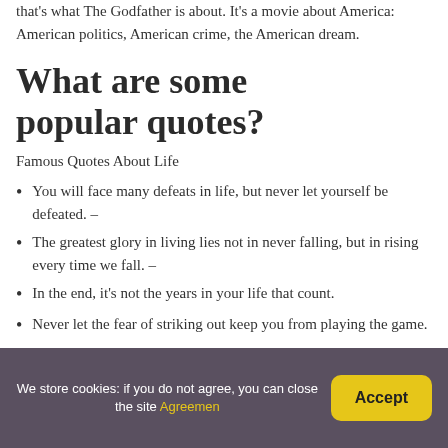that's what The Godfather is about. It's a movie about America: American politics, American crime, the American dream.
What are some popular quotes?
Famous Quotes About Life
You will face many defeats in life, but never let yourself be defeated. –
The greatest glory in living lies not in never falling, but in rising every time we fall. –
In the end, it's not the years in your life that count.
Never let the fear of striking out keep you from playing the game.
We store cookies: if you do not agree, you can close the site Agreemen  Accept